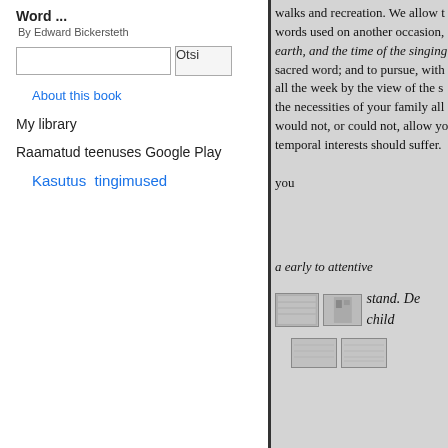Word ...
By Edward Bickersteth
Otsi (search button)
About this book
My library
Raamatud teenuses Google Play
Kasutus tingimused
walks and recreation. We allow t words used on another occasion, earth, and the time of the singing sacred word; and to pursue, with all the week by the view of the s the necessities of your family all would not, or could not, allow yo temporal interests should suffer. you
a early to attentive
stand. De child
[Figure (photo): Small thumbnail images of book pages]
Note they great a jilat 1 cordeon
,,,,,,,,,,,,,,,,,,,,,,,,,,,,,,,,